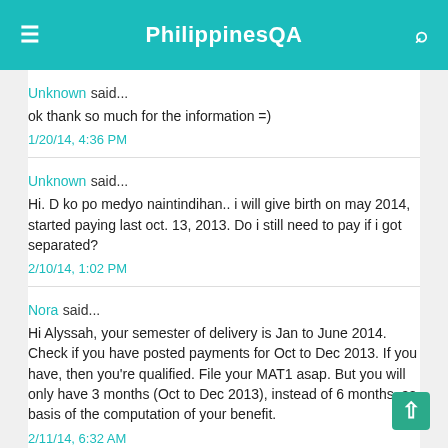PhilippinesQA
Unknown said...
ok thank so much for the information =)
1/20/14, 4:36 PM
Unknown said...
Hi. D ko po medyo naintindihan.. i will give birth on may 2014, started paying last oct. 13, 2013. Do i still need to pay if i got separated?
2/10/14, 1:02 PM
Nora said...
Hi Alyssah, your semester of delivery is Jan to June 2014. Check if you have posted payments for Oct to Dec 2013. If you have, then you're qualified. File your MAT1 asap. But you will only have 3 months (Oct to Dec 2013), instead of 6 months, as basis of the computation of your benefit.
2/11/14, 6:32 AM